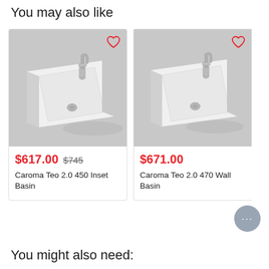You may also like
[Figure (photo): White rectangular bathroom basin with chrome faucet on grey background]
$617.00 $745
Caroma Teo 2.0 450 Inset Basin
[Figure (photo): White rectangular wall-mounted bathroom basin with chrome faucet on grey background]
$671.00
Caroma Teo 2.0 470 Wall Basin
You might also need: